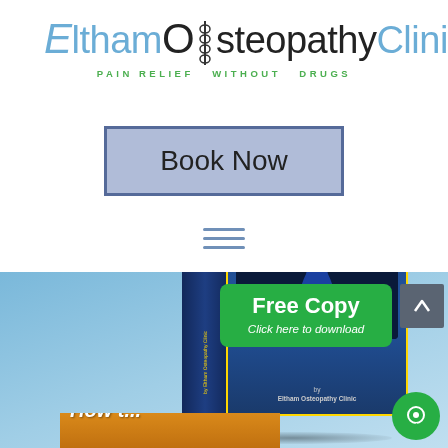[Figure (logo): Eltham Osteopathy Clinic logo with spine illustration and tagline PAIN RELIEF WITHOUT DRUGS]
Book Now
[Figure (illustration): Hamburger menu icon (three horizontal lines)]
[Figure (photo): Book mockup with brain/headache imagery on blue gradient background, authored by Eltham Osteopathy Clinic]
Free Copy
Click here to download
[Figure (illustration): Second book peeking at the bottom with yellow/orange cover]